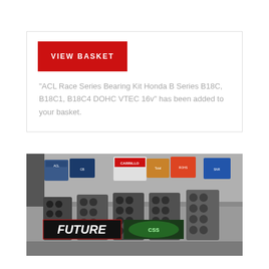VIEW BASKET
“ACL Race Series Bearing Kit Honda B Series B18C, B18C1, B18C4 DOHC VTEC 16v” has been added to your basket.
[Figure (photo): Photo of a workshop/store showing multiple engine cylinder heads and blocks arranged on a table, with various auto parts boxes from brands like Carrillo, Total, and others stacked behind them. A banner reading FUTURE and a green logo are visible in the lower portion.]